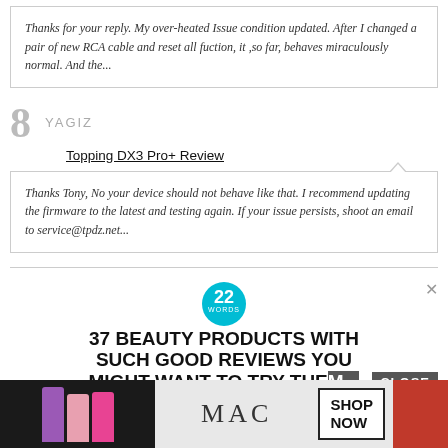Thanks for your reply. My over-heated issue condition updated. After I changed a pair of new RCA cable and reset all fuction, it ,so far, behaves miraculously normal. And the...
8
YAGIZ
Topping DX3 Pro+ Review
Thanks Tony, No your device should not behave like that. I recommend updating the firmware to the latest and testing again. If your issue persists, shoot an email to service@tpdz.net...
[Figure (other): Advertisement: 22 Words badge and headline '37 BEAUTY PRODUCTS WITH SUCH GOOD REVIEWS YOU MIGHT WANT TO TRY THE...' with close button]
[Figure (other): MAC cosmetics advertisement banner with lipsticks and SHOP NOW button]